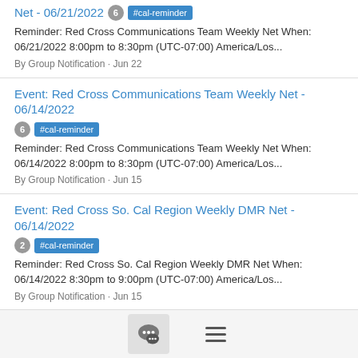Net - 06/21/2022 [6] #cal-reminder
Reminder: Red Cross Communications Team Weekly Net When: 06/21/2022 8:00pm to 8:30pm (UTC-07:00) America/Los...
By Group Notification · Jun 22
Event: Red Cross Communications Team Weekly Net - 06/14/2022 [6] #cal-reminder
Reminder: Red Cross Communications Team Weekly Net When: 06/14/2022 8:00pm to 8:30pm (UTC-07:00) America/Los...
By Group Notification · Jun 15
Event: Red Cross So. Cal Region Weekly DMR Net - 06/14/2022 [2] #cal-reminder
Reminder: Red Cross So. Cal Region Weekly DMR Net When: 06/14/2022 8:30pm to 9:00pm (UTC-07:00) America/Los...
By Group Notification · Jun 15
[Figure (screenshot): Bottom navigation bar with a chat bubble icon button and a hamburger menu icon]